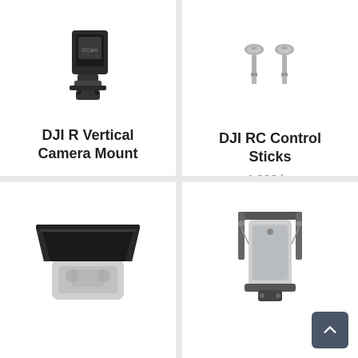[Figure (photo): DJI R Vertical Camera Mount product photo - black camera mount accessory]
DJI R Vertical Camera Mount
[Figure (photo): DJI RC Control Sticks product photo - two small metal control sticks]
DJI RC Control Sticks
1.990 kr.
[Figure (photo): DJI controller sun shield/hood accessory product photo]
[Figure (photo): DJI tablet/phone holder mount accessory product photo]